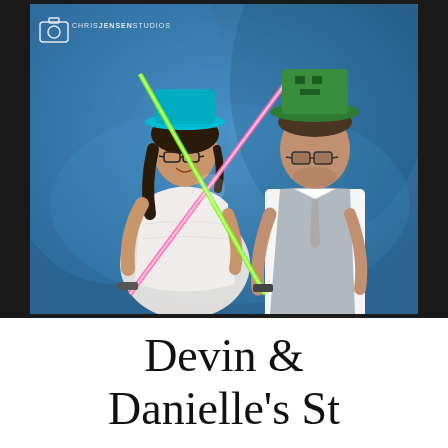[Figure (photo): Wedding photo of a bride and groom in a photo booth setting. Both are holding toy lightsabers that cross in an X. The woman wears a white strapless wedding dress and a blue party hat with novelty glasses. The man wears a white dress shirt, gray vest, and green novelty hat, also with glasses. The background is blue. A watermark in the upper left reads 'CHRISJENSENSTUDIOS' with a camera icon.]
Devin & Danielle's St